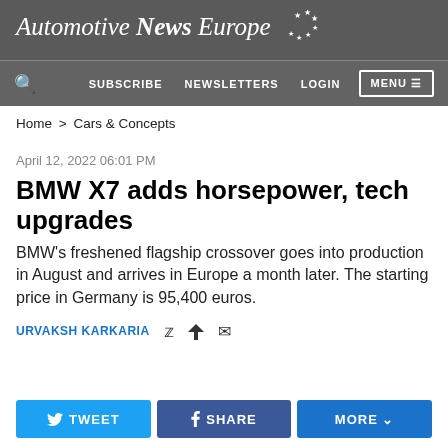Automotive News Europe
SUBSCRIBE   NEWSLETTERS   LOGIN   MENU
Home > Cars & Concepts
April 12, 2022 06:01 PM
BMW X7 adds horsepower, tech upgrades
BMW's freshened flagship crossover goes into production in August and arrives in Europe a month later. The starting price in Germany is 95,400 euros.
URVAKSH KARKARIA
TWEET  SHARE  MORE